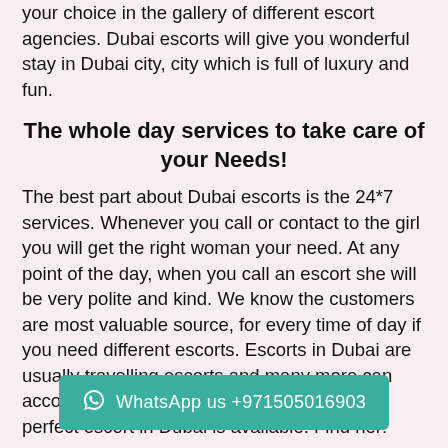your choice in the gallery of different escort agencies. Dubai escorts will give you wonderful stay in Dubai city, city which is full of luxury and fun.
The whole day services to take care of your Needs!
The best part about Dubai escorts is the 24*7 services. Whenever you call or contact to the girl you will get the right woman your need. At any point of the day, when you call an escort she will be very polite and kind. We know the customers are most valuable source, for every time of day if you need different escorts. Escorts in Dubai are usually travelling escorts and many more can accompany you for different occasions. The perfect escort in Dubai is available. Find her!
Variety and vividness discovered by clients from the Best Call Girl In Dubai. Busy? Call and get the best one to full fill the Become a re with availability. Become...
[Figure (infographic): WhatsApp us button bar: teal/green rounded rectangle with WhatsApp icon and text '+971505016903']